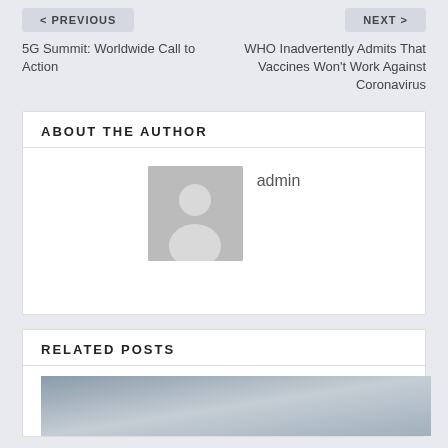< PREVIOUS
NEXT >
5G Summit: Worldwide Call to Action
WHO Inadvertently Admits That Vaccines Won't Work Against Coronavirus
ABOUT THE AUTHOR
[Figure (photo): Default user avatar placeholder - grey silhouette of a person on grey background]
admin
RELATED POSTS
[Figure (photo): Partial image at bottom - grey/blue gradient image for a related post]